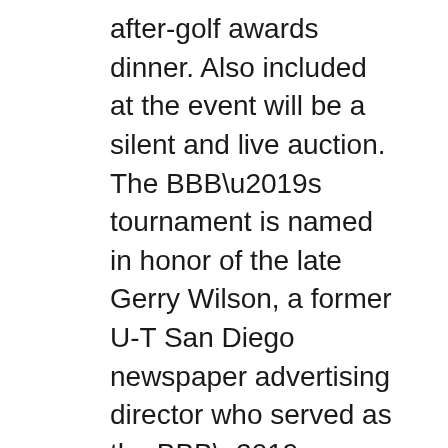after-golf awards dinner. Also included at the event will be a silent and live auction. The BBB's tournament is named in honor of the late Gerry Wilson, a former U-T San Diego newspaper advertising director who served as the BBB's president/CEO from January 1996 to March 2004. The tournament also will feature its annual “wacky slacks contest” in honor of Wilson, who was known for arriving at the first tee wearing outrageous and multicolored trousers. The golfer wearing the loudest and most ridiculous-looking pants will win a prize, the BBB said.